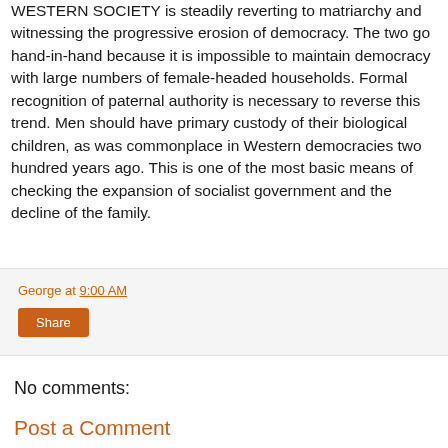WESTERN SOCIETY is steadily reverting to matriarchy and witnessing the progressive erosion of democracy. The two go hand-in-hand because it is impossible to maintain democracy with large numbers of female-headed households. Formal recognition of paternal authority is necessary to reverse this trend. Men should have primary custody of their biological children, as was commonplace in Western democracies two hundred years ago. This is one of the most basic means of checking the expansion of socialist government and the decline of the family.
George at 9:00 AM
Share
No comments:
Post a Comment